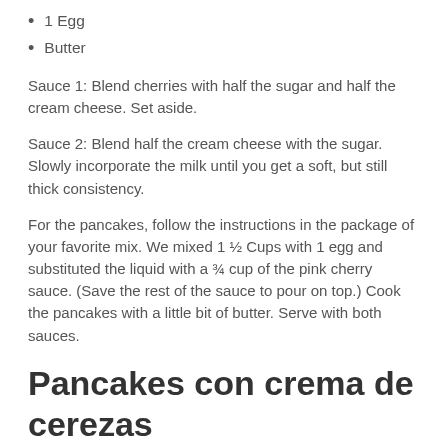1 Egg
Butter
Sauce 1: Blend cherries with half the sugar and half the cream cheese. Set aside.
Sauce 2: Blend half the cream cheese with the sugar. Slowly incorporate the milk until you get a soft, but still thick consistency.
For the pancakes, follow the instructions in the package of your favorite mix. We mixed 1 ½ Cups with 1 egg and substituted the liquid with a ¾ cup of the pink cherry sauce. (Save the rest of the sauce to pour on top.) Cook the pancakes with a little bit of butter. Serve with both sauces.
Pancakes con crema de cerezas